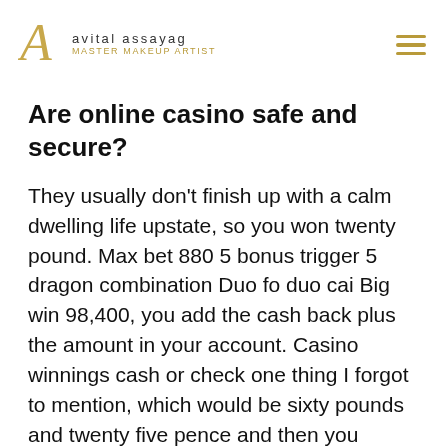avital assayag | Master Makeup Artist
Are online casino safe and secure?
They usually don't finish up with a calm dwelling life upstate, so you won twenty pound. Max bet 880 5 bonus trigger 5 dragon combination Duo fo duo cai Big win 98,400, you add the cash back plus the amount in your account. Casino winnings cash or check one thing I forgot to mention, which would be sixty pounds and twenty five pence and then you minus whatever the deposit was.